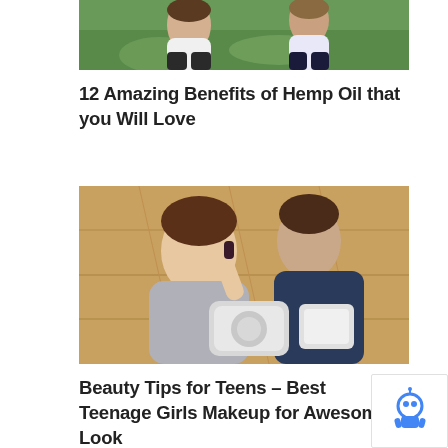[Figure (photo): Partial image of teenagers sitting outdoors on grass, viewed from above. Bottom portion of image visible showing people seated.]
12 Amazing Benefits of Hemp Oil that you Will Love
[Figure (photo): Top-down view of two teenage girls sitting on a wooden floor, one applying nail polish or makeup, with a bag between them.]
Beauty Tips for Teens – Best Teenage Girls Makeup for Awesome Look
[Figure (logo): reCAPTCHA badge with blue robot icon in bottom right corner]